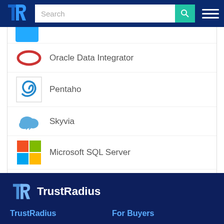[Figure (screenshot): TrustRadius website header with logo, search bar, and hamburger menu on dark blue background]
Oracle Data Integrator
Pentaho
Skyvia
Microsoft SQL Server
Informatica Intelligent Cloud Integration Services
[Figure (logo): TrustRadius logo in white on dark blue footer background]
TrustRadius
For Buyers